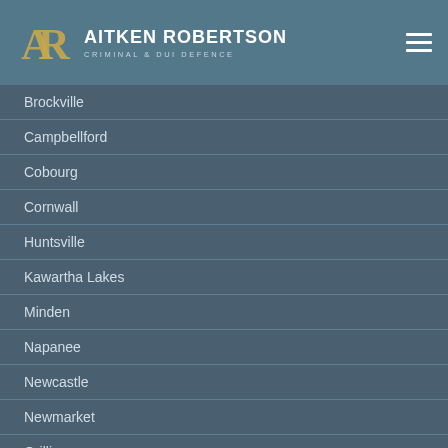AITKEN ROBERTSON CRIMINAL & DUI DEFENCE
Brockville
Campbellford
Cobourg
Cornwall
Huntsville
Kawartha Lakes
Minden
Napanee
Newcastle
Newmarket
Orillia
Pembroke